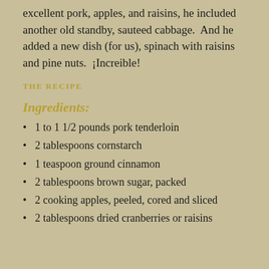excellent pork, apples, and raisins, he included another old standby, sauteed cabbage.  And he added a new dish (for us), spinach with raisins and pine nuts.  ¡Increible!
THE RECIPE
Ingredients:
1 to 1 1/2 pounds pork tenderloin
2 tablespoons cornstarch
1 teaspoon ground cinnamon
2 tablespoons brown sugar, packed
2 cooking apples, peeled, cored and sliced
2 tablespoons dried cranberries or raisins